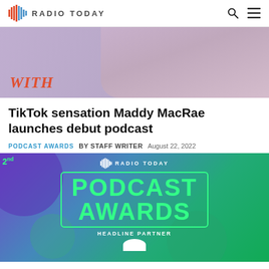RADIO TODAY
[Figure (photo): Partial image of a woman with curly red hair on a purple background, with 'WITH' text overlay in red italic]
TikTok sensation Maddy MacRae launches debut podcast
PODCAST AWARDS  BY STAFF WRITER  August 22, 2022
[Figure (photo): Radio Today Podcast Awards promotional banner with green text on purple-to-green gradient background, featuring a bordered box with 'PODCAST AWARDS' in green, Radio Today logo at top, 'HEADLINE PARTNER' text below]